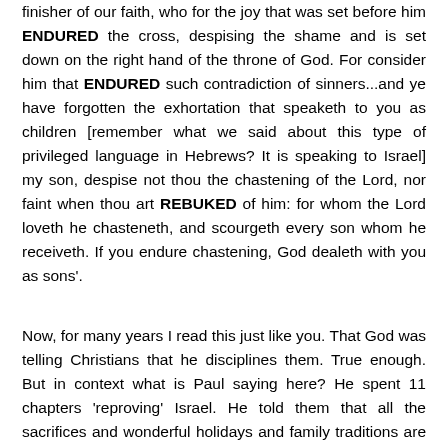finisher of our faith, who for the joy that was set before him ENDURED the cross, despising the shame and is set down on the right hand of the throne of God. For consider him that ENDURED such contradiction of sinners...and ye have forgotten the exhortation that speaketh to you as children [remember what we said about this type of privileged language in Hebrews? It is speaking to Israel] my son, despise not thou the chastening of the Lord, nor faint when thou art REBUKED of him: for whom the Lord loveth he chasteneth, and scourgeth every son whom he receiveth. If you endure chastening, God dealeth with you as sons'.
Now, for many years I read this just like you. That God was telling Christians that he disciplines them. True enough. But in context what is Paul saying here? He spent 11 chapters 'reproving' Israel. He told them that all the sacrifices and wonderful holidays and family traditions are no more. That Messiah has fulfilled it and you can't keep doing it. Now, how would you feel if some know it all preacher came along and totally dismantled your whole way of worship? And you knew in your heart he was right! You would take offence. You would feel like you just got 'chastened' up and down and all over. Your initial reaction would be 'this is too much correction in one letter, I am tired of reading it!' so Paul is telling Israel 'Don't take all this reproof the wrong way, Gods intent is to get you to